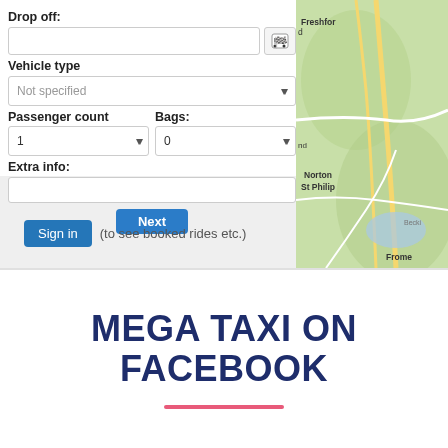[Figure (screenshot): Web form screenshot showing Drop off field, Vehicle type dropdown (Not specified), Passenger count (1) and Bags (0) dropdowns, Extra info text field, and a Next button partially visible at bottom. Right side shows a map with green terrain, roads, and labels including Freshford, Norton St Philip, and Frome.]
Sign in (to see booked rides etc.)
MEGA TAXI ON FACEBOOK